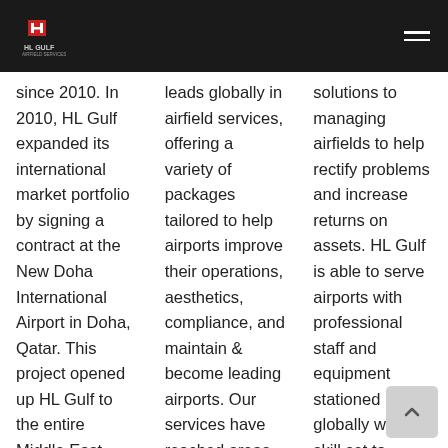HL Gulf
since 2010. In 2010, HL Gulf expanded its international market portfolio by signing a contract at the New Doha International Airport in Doha, Qatar. This project opened up HL Gulf to the entire Middle East market
leads globally in airfield services, offering a variety of packages tailored to help airports improve their operations, aesthetics, compliance, and maintain & become leading airports. Our services have reached areas in the Middle East
solutions to managing airfields to help rectify problems and increase returns on assets. HL Gulf is able to serve airports with professional staff and equipment stationed globally with the skill set to